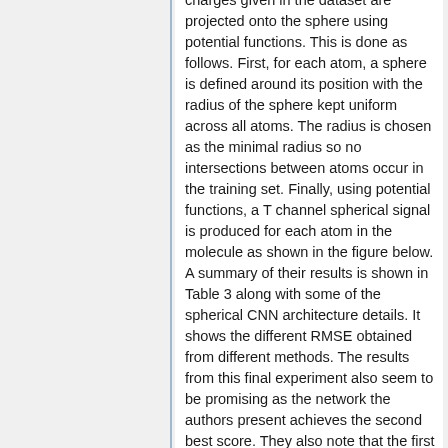charges given in the dataset are projected onto the sphere using potential functions. This is done as follows. First, for each atom, a sphere is defined around its position with the radius of the sphere kept uniform across all atoms. The radius is chosen as the minimal radius so no intersections between atoms occur in the training set. Finally, using potential functions, a T channel spherical signal is produced for each atom in the molecule as shown in the figure below. A summary of their results is shown in Table 3 along with some of the spherical CNN architecture details. It shows the different RMSE obtained from different methods. The results from this final experiment also seem to be promising as the network the authors present achieves the second best score. They also note that the first place